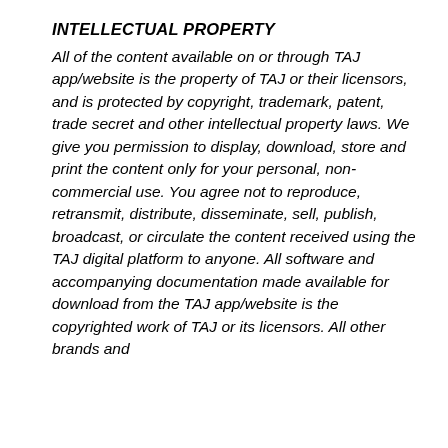INTELLECTUAL PROPERTY
All of the content available on or through TAJ app/website is the property of TAJ or their licensors, and is protected by copyright, trademark, patent, trade secret and other intellectual property laws. We give you permission to display, download, store and print the content only for your personal, non-commercial use. You agree not to reproduce, retransmit, distribute, disseminate, sell, publish, broadcast, or circulate the content received using the TAJ digital platform to anyone. All software and accompanying documentation made available for download from the TAJ app/website is the copyrighted work of TAJ or its licensors. All other brands and